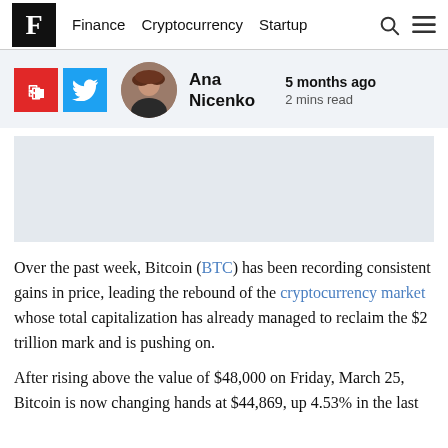F  Finance  Cryptocurrency  Startup
[Figure (photo): Author headshot of Ana Nicenko, a woman with dark reddish hair]
Ana Nicenko  5 months ago  2 mins read
[Figure (photo): Advertisement placeholder block]
Over the past week, Bitcoin (BTC) has been recording consistent gains in price, leading the rebound of the cryptocurrency market whose total capitalization has already managed to reclaim the $2 trillion mark and is pushing on.
After rising above the value of $48,000 on Friday, March 25, Bitcoin is now changing hands at $44,869, up 4.53% in the last